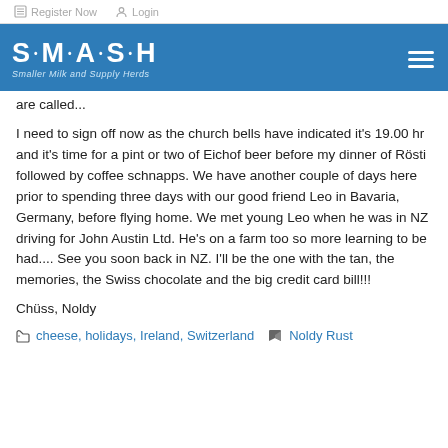Register Now  Login
[Figure (logo): SMASH logo — Smaller Milk and Supply Herds — white text on blue banner with hamburger menu icon]
are called...
I need to sign off now as the church bells have indicated it's 19.00 hr and it's time for a pint or two of Eichof beer before my dinner of Rösti followed by coffee schnapps. We have another couple of days here prior to spending three days with our good friend Leo in Bavaria, Germany, before flying home. We met young Leo when he was in NZ driving for John Austin Ltd. He's on a farm too so more learning to be had.... See you soon back in NZ. I'll be the one with the tan, the memories, the Swiss chocolate and the big credit card bill!!!
Chüss, Noldy
cheese, holidays, Ireland, Switzerland  Noldy Rust